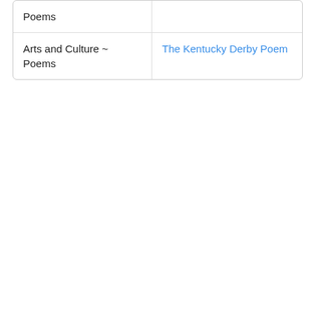| Poems |  |
| Arts and Culture ~ Poems | The Kentucky Derby Poem |